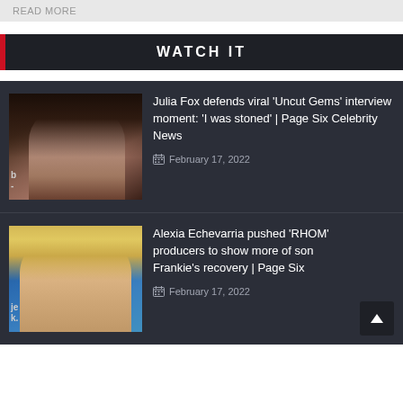READ MORE
WATCH IT
Julia Fox defends viral ‘Uncut Gems’ interview moment: ‘I was stoned’ | Page Six Celebrity News
February 17, 2022
[Figure (photo): Headshot of Julia Fox with dark hair and chandelier earrings]
Alexia Echevarria pushed ‘RHOM’ producers to show more of son Frankie’s recovery | Page Six
February 17, 2022
[Figure (photo): Headshot of Alexia Echevarria with blonde hair against blue background]